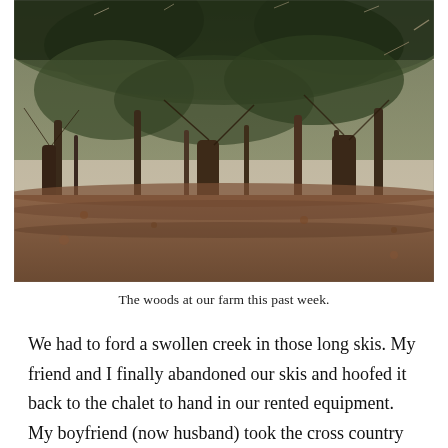[Figure (photo): A sepia-toned photograph of bare deciduous trees in a forest, with fallen brown leaves covering the ground. The trees have dark, gnarled trunks and sparse winter branches with some remaining foliage at the tops.]
The woods at our farm this past week.
We had to ford a swollen creek in those long skis. My friend and I finally abandoned our skis and hoofed it back to the chalet to hand in our rented equipment. My boyfriend (now husband) took the cross country skis